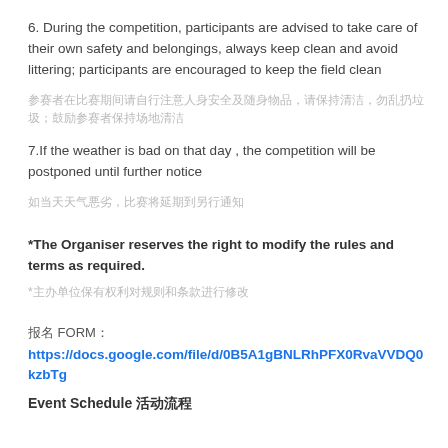6. During the competition, participants are advised to take care of their own safety and belongings, always keep clean and avoid littering; participants are encouraged to keep the field clean
（Chinese translation of item 6）
7.If the weather is bad on that day , the competition will be postponed until further notice
（Chinese translation of item 7）
*The Organiser reserves the right to modify the rules and terms as required.
*（Chinese translation of notice）
报名 FORM：
https://docs.google.com/file/d/0B5A1gBNLRhPFX0RvaVVDQ0kzbTg
Event Schedule 活动流程